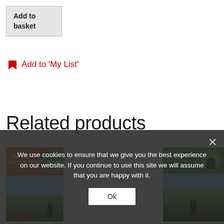Add to basket
Add to 'My List'
Related products
[Figure (photo): Book cover: Cycling The C2C Cycle Route with a Sale! badge and landscape photo]
C2C
[Figure (photo): Book cover: British Bike Rides Lake District guide with cyclist image]
Lake
We use cookies to ensure that we give you the best experience on our website. If you continue to use this site we will assume that you are happy with it.